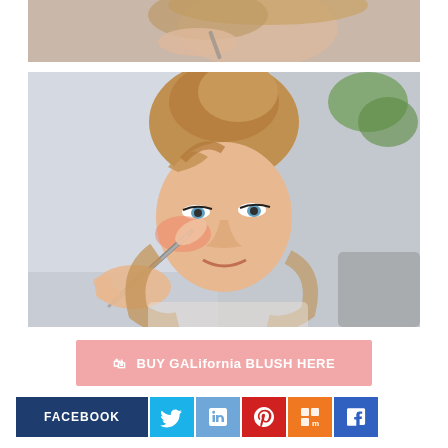[Figure (photo): Cropped photo of a woman applying blush makeup with a brush, top portion visible]
[Figure (photo): Full photo of a blonde woman with hair up in a bun applying blush to her cheek with a makeup brush, light background]
BUY GALifornia BLUSH HERE
FACEBOOK